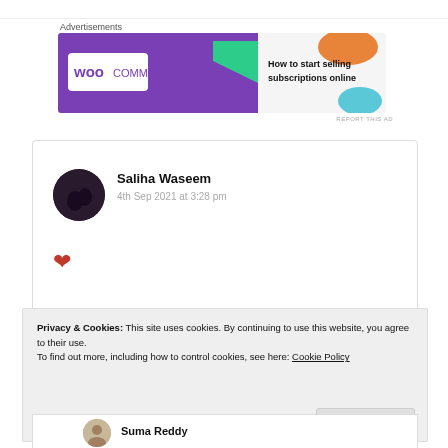[Figure (advertisement): WooCommerce banner ad: purple background with white WooCommerce logo, text 'How to start selling subscriptions online', decorative colored shapes (green, orange, blue)]
Saliha Waseem
4th Sep 2021 at 3:28 pm
[Figure (illustration): Red heart emoji/icon]
★ Liked by 1 person
Privacy & Cookies: This site uses cookies. By continuing to use this website, you agree to their use.
To find out more, including how to control cookies, see here: Cookie Policy
Close and accept
Suma Reddy